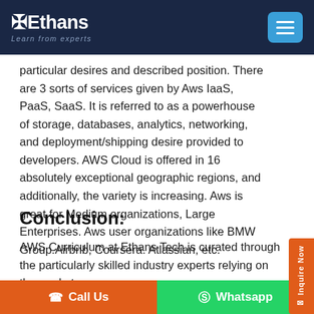Ethans — Learn from experts
particular desires and described position. There are 3 sorts of services given by Aws IaaS, PaaS, SaaS. It is referred to as a powerhouse of storage, databases, analytics, networking, and deployment/shipping desire provided to developers. AWS Cloud is offered in 16 absolutely exceptional geographic regions, and additionally, the variety is increasing. Aws is great for Medium organizations, Large Enterprises. Aws user organizations like BMW Group.Airbnb, Coursera. Atlassian, etc.
Conclusion:
AWS Curriculum at Ethans Tech is curated through the particularly skilled industry experts relying on the market
Call Us   Whatsapp